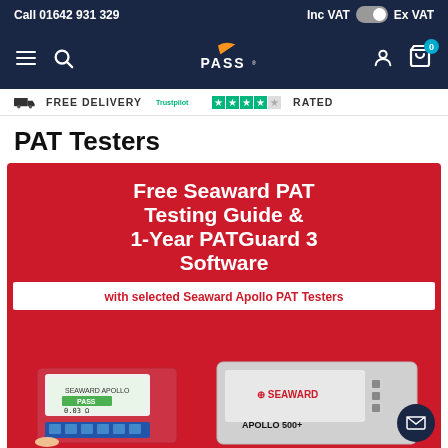Call 01642 931 329 | Inc VAT [toggle] Ex VAT
[Figure (logo): PASS brand logo with navigation bar including hamburger menu, search icon, user icon, and basket icon with badge '0']
FREE DELIVERY | Trustpilot [stars] RATED
PAT Testers
[Figure (infographic): Red promotional banner reading 'Free Seaward PAT Testing Guide & 1-Year PATGuard 3 Software' with sub-banner 'with selected Seaward Apollo PAT Testers' and product images of Seaward Apollo PAT testers at the bottom. A dark navy mail/envelope button is in the bottom right corner.]